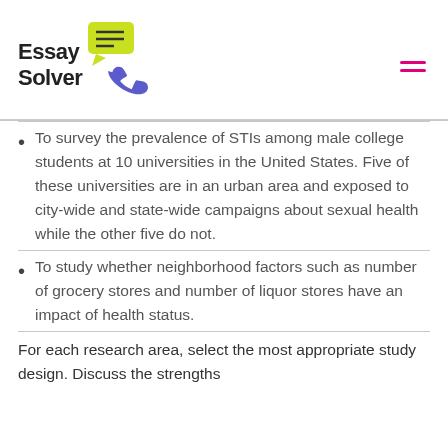Essay Solver
To survey the prevalence of STIs among male college students at 10 universities in the United States. Five of these universities are in an urban area and exposed to city-wide and state-wide campaigns about sexual health while the other five do not.
To study whether neighborhood factors such as number of grocery stores and number of liquor stores have an impact of health status.
For each research area, select the most appropriate study design. Discuss the strengths